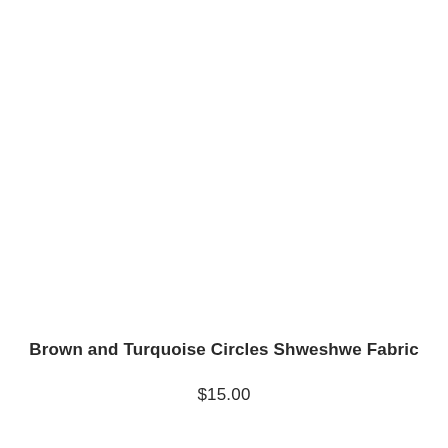Brown and Turquoise Circles Shweshwe Fabric
$15.00